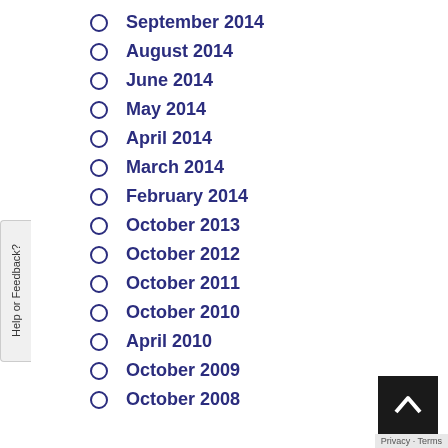September 2014
August 2014
June 2014
May 2014
April 2014
March 2014
February 2014
October 2013
October 2012
October 2011
October 2010
April 2010
October 2009
October 2008